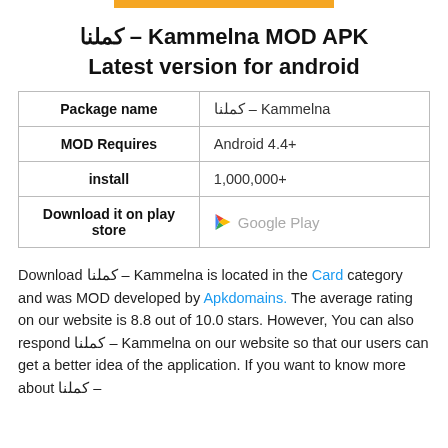كملنا – Kammelna MOD APK Latest version for android
|  |  |
| --- | --- |
| Package name | كملنا – Kammelna |
| MOD Requires | Android 4.4+ |
| install | 1,000,000+ |
| Download it on play store | Google Play |
Download كملنا – Kammelna is located in the Card category and was MOD developed by Apkdomains. The average rating on our website is 8.8 out of 10.0 stars. However, You can also respond كملنا – Kammelna on our website so that our users can get a better idea of the application. If you want to know more about كملنا –